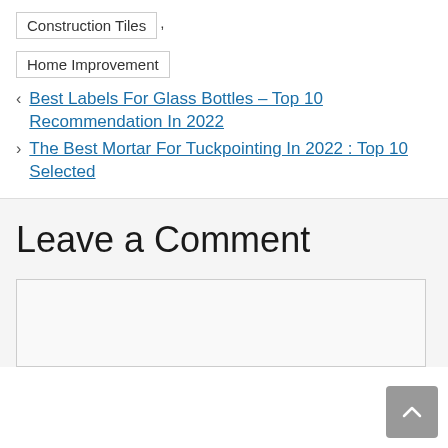Construction Tiles
Home Improvement
Best Labels For Glass Bottles – Top 10 Recommendation In 2022
The Best Mortar For Tuckpointing In 2022 : Top 10 Selected
Leave a Comment
(comment text area)